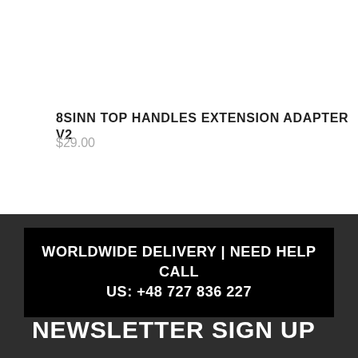8SINN TOP HANDLES EXTENSION ADAPTER V2
$29.00
WORLDWIDE DELIVERY | NEED HELP CALL US: +48 727 836 227
NEWSLETTER SIGN UP